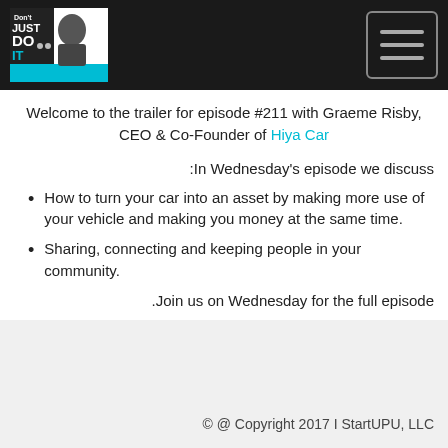Don't Just Do It podcast logo and navigation menu
Welcome to the trailer for episode #211 with Graeme Risby, CEO & Co-Founder of Hiya Car
In Wednesday's episode we discuss:
How to turn your car into an asset by making more use of your vehicle and making you money at the same time.
Sharing, connecting and keeping people in your community.
Join us on Wednesday for the full episode.
© @ Copyright 2017 I StartUPU, LLC